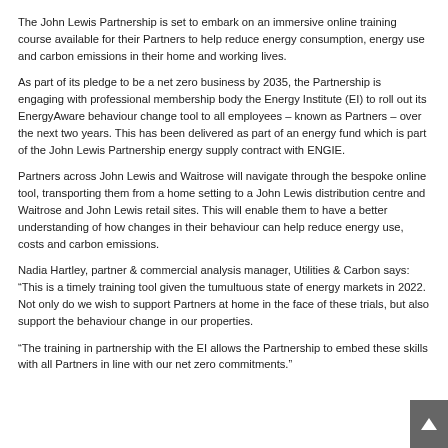The John Lewis Partnership is set to embark on an immersive online training course available for their Partners to help reduce energy consumption, energy use and carbon emissions in their home and working lives.
As part of its pledge to be a net zero business by 2035, the Partnership is engaging with professional membership body the Energy Institute (EI) to roll out its EnergyAware behaviour change tool to all employees – known as Partners – over the next two years. This has been delivered as part of an energy fund which is part of the John Lewis Partnership energy supply contract with ENGIE.
Partners across John Lewis and Waitrose will navigate through the bespoke online tool, transporting them from a home setting to a John Lewis distribution centre and Waitrose and John Lewis retail sites. This will enable them to have a better understanding of how changes in their behaviour can help reduce energy use, costs and carbon emissions.
Nadia Hartley, partner & commercial analysis manager, Utilities & Carbon says: “This is a timely training tool given the tumultuous state of energy markets in 2022. Not only do we wish to support Partners at home in the face of these trials, but also support the behaviour change in our properties.
“The training in partnership with the EI allows the Partnership to embed these skills with all Partners in line with our net zero commitments.”